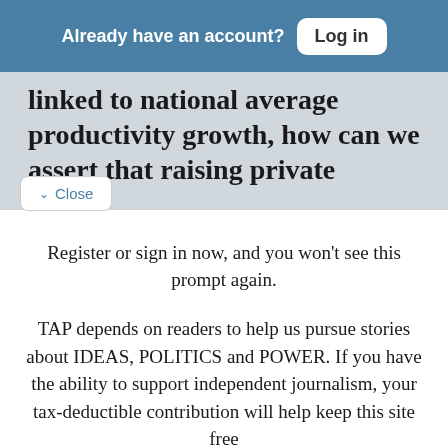Already have an account? Log in
linked to national average productivity growth, how can we assert that raising private capital [Close] on or national research and development [ill our comparative productivity
Register or sign in now, and you won't see this prompt again.
TAP depends on readers to help us pursue stories about IDEAS, POLITICS and POWER. If you have the ability to support independent journalism, your tax-deductible contribution will help keep this site free